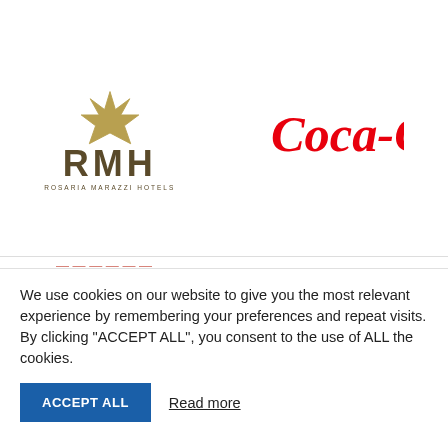[Figure (logo): RMH Rosaria Marazzi Hotels logo with gold crown symbol and dark brown letters]
[Figure (logo): Coca-Cola logo in red cursive script on white background]
We use cookies on our website to give you the most relevant experience by remembering your preferences and repeat visits. By clicking “ACCEPT ALL”, you consent to the use of ALL the cookies.
ACCEPT ALL
Read more